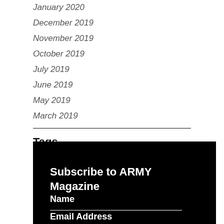January 2020
December 2019
November 2019
October 2019
July 2019
June 2019
May 2019
March 2019
Tags
[Figure (other): Black subscription box with Subscribe to ARMY Magazine heading, Name field, and Email Address field on dark background]
Subscribe to ARMY Magazine
Name
Email Address